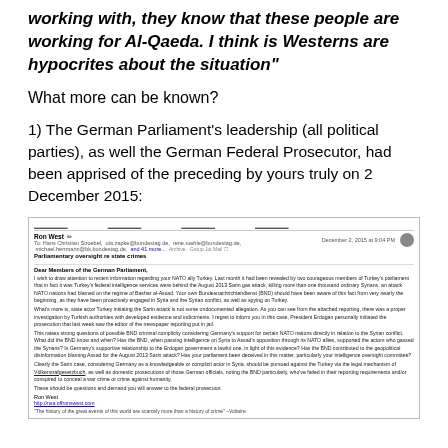working with, they know that these people are working for Al-Qaeda. I think is Westerns are hypocrites about the situation"
What more can be known?
1) The German Parliament’s leadership (all political parties), as well the German Federal Prosecutor, had been apprised of the preceding by yours truly on 2 December 2015:
[Figure (screenshot): Screenshot of an email composed by Ron West addressed to members of the German Parliament including Hans Christian Stroebel and others, dated December 2, 2015 at 9:04 PM. Subject: Parliamentary oversight re state crimes. The email discusses NATO ally Turkey's role in the August 2013 Sarin gas attack, BND intelligence sharing, and demands parliamentary oversight. Signed Ron West with a link to his blog.]